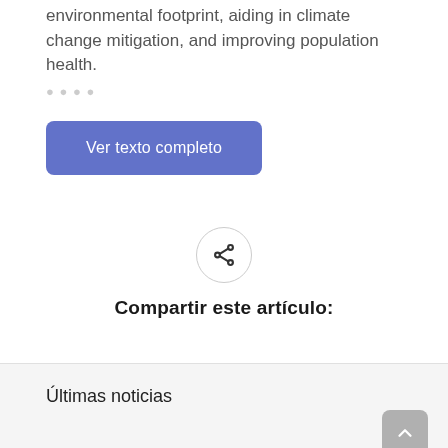environmental footprint, aiding in climate change mitigation, and improving population health.
[Figure (other): Button labeled 'Ver texto completo' with blue/purple rounded rectangle background]
[Figure (other): Share icon inside a circular border]
Compartir este artículo:
Últimas noticias